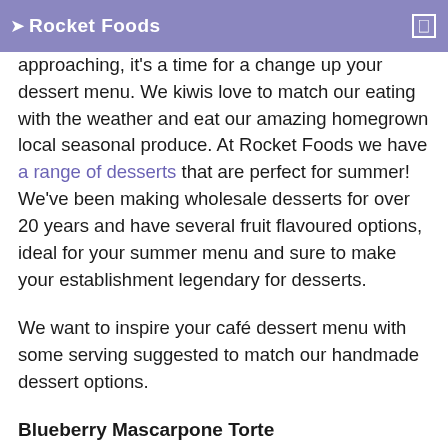Rocket Foods
approaching, it's a time for a change up your dessert menu. We kiwis love to match our eating with the weather and eat our amazing homegrown local seasonal produce. At Rocket Foods we have a range of desserts that are perfect for summer! We've been making wholesale desserts for over 20 years and have several fruit flavoured options, ideal for your summer menu and sure to make your establishment legendary for desserts.
We want to inspire your café dessert menu with some serving suggested to match our handmade dessert options.
Blueberry Mascarpone Torte
Our Blueberry Mascarpone Torte is a firm favourite amongst Rocket Foods staff. This dessert has a lemon